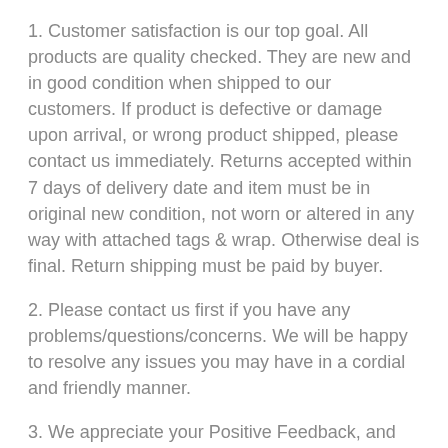1. Customer satisfaction is our top goal. All products are quality checked. They are new and in good condition when shipped to our customers. If product is defective or damage upon arrival, or wrong product shipped, please contact us immediately. Returns accepted within 7 days of delivery date and item must be in original new condition, not worn or altered in any way with attached tags & wrap. Otherwise deal is final. Return shipping must be paid by buyer.
2. Please contact us first if you have any problems/questions/concerns. We will be happy to resolve any issues you may have in a cordial and friendly manner.
3. We appreciate your Positive Feedback, and will do the same in return. PLEASE DO NOT leave negative feedback without first communication with us. Please allow max 24 HOURS for us to respond
About Feedback
We maintain high standards for all our products...